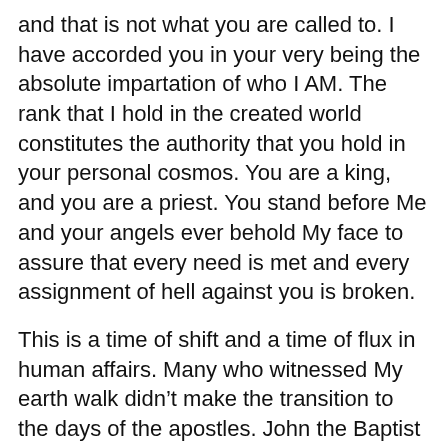and that is not what you are called to. I have accorded you in your very being the absolute impartation of who I AM. The rank that I hold in the created world constitutes the authority that you hold in your personal cosmos. You are a king, and you are a priest. You stand before Me and your angels ever behold My face to assure that every need is met and every assignment of hell against you is broken.
This is a time of shift and a time of flux in human affairs. Many who witnessed My earth walk didn’t make the transition to the days of the apostles. John the Baptist himself was never intended to render up his life in Herod’s dungeon. Refuse to get offended by the fact that My thoughts are not your thoughts, and My ways are not your ways. There is a place here by Me with your name on it, but you must draw yourself aside and lose the opinions of men that have shaped your thinking more than you know. You are not a mere human being. You are a new creation. You are a member of the race of the Second Man that I